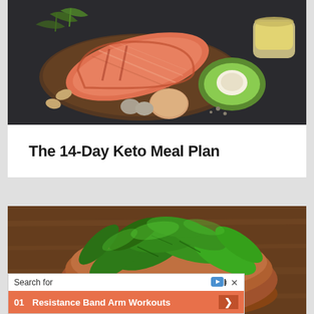[Figure (photo): Salmon steak on wooden cutting board with avocado, egg, nuts, seeds, and olive oil on dark background — keto foods]
The 14-Day Keto Meal Plan
[Figure (photo): Bowl of fresh spinach leaves on wooden table background, with an ad overlay showing 'Search for' bar and '01 Resistance Band Arm Workouts' item in orange]
Search for
01 Resistance Band Arm Workouts